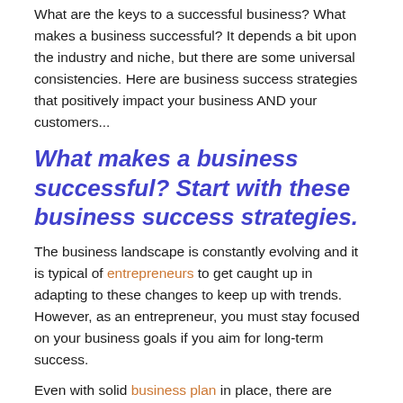What are the keys to a successful business? What makes a business successful? It depends a bit upon the industry and niche, but there are some universal consistencies. Here are business success strategies that positively impact your business AND your customers...
What makes a business successful? Start with these business success strategies.
The business landscape is constantly evolving and it is typical of entrepreneurs to get caught up in adapting to these changes to keep up with trends. However, as an entrepreneur, you must stay focused on your business goals if you aim for long-term success.
Even with solid business plan in place, there are some additional measures that an entrepreneurs and small business owners should apply in the interest of both enjoyment and longevity.